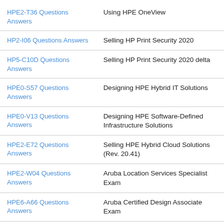| Exam | Description |
| --- | --- |
| HPE2-T36 Questions Answers | Using HPE OneView |
| HP2-I06 Questions Answers | Selling HP Print Security 2020 |
| HP5-C10D Questions Answers | Selling HP Print Security 2020 delta |
| HPE0-S57 Questions Answers | Designing HPE Hybrid IT Solutions |
| HPE0-V13 Questions Answers | Designing HPE Software-Defined Infrastructure Solutions |
| HPE2-E72 Questions Answers | Selling HPE Hybrid Cloud Solutions (Rev. 20.41) |
| HPE2-W04 Questions Answers | Aruba Location Services Specialist Exam |
| HPE6-A66 Questions Answers | Aruba Certified Design Associate Exam |